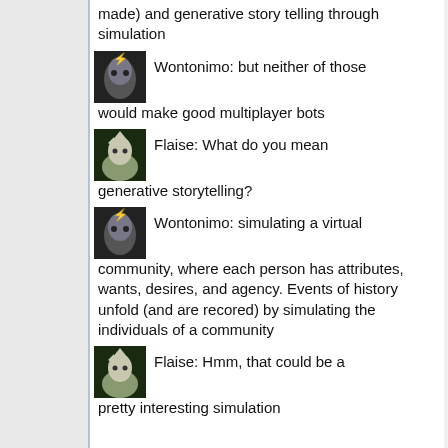made) and generative story telling through simulation
Wontonimo: but neither of those would make good multiplayer bots
Flaise: What do you mean generative storytelling?
Wontonimo: simulating a virtual community, where each person has attributes, wants, desires, and agency. Events of history unfold (and are recored) by simulating the individuals of a community
Flaise: Hmm, that could be a pretty interesting simulation